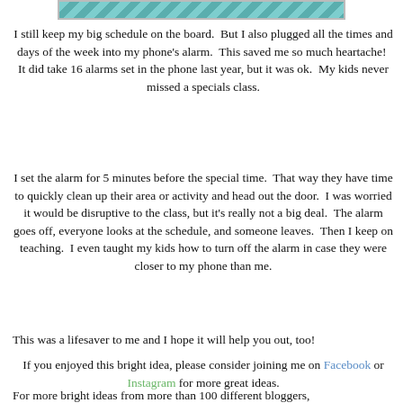[Figure (illustration): Decorative teal/green chevron pattern banner image at top of page]
I still keep my big schedule on the board.  But I also plugged all the times and days of the week into my phone's alarm.  This saved me so much heartache!  It did take 16 alarms set in the phone last year, but it was ok.  My kids never missed a specials class.
I set the alarm for 5 minutes before the special time.  That way they have time to quickly clean up their area or activity and head out the door.  I was worried it would be disruptive to the class, but it's really not a big deal.  The alarm goes off, everyone looks at the schedule, and someone leaves.  Then I keep on teaching.  I even taught my kids how to turn off the alarm in case they were closer to my phone than me.
This was a lifesaver to me and I hope it will help you out, too!
If you enjoyed this bright idea, please consider joining me on Facebook or Instagram for more great ideas.
For more bright ideas from more than 100 different bloggers,